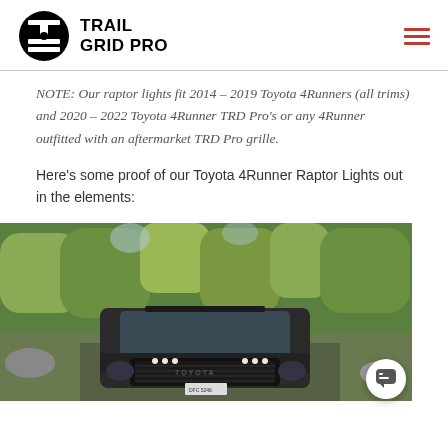TRAIL GRID PRO
NOTE: Our raptor lights fit 2014 – 2019 Toyota 4Runners (all trims) and 2020 – 2022 Toyota 4Runner TRD Pro's or any 4Runner outfitted with an aftermarket TRD Pro grille.
Here's some proof of our Toyota 4Runner Raptor Lights out in the elements:
[Figure (photo): Black Toyota 4Runner with raptor lights installed on the front grille, photographed outdoors in a wooded area with green trees in the background.]